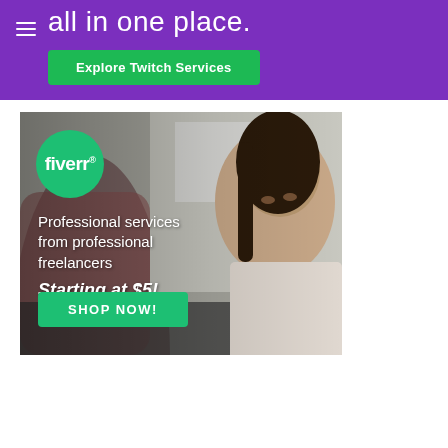[Figure (screenshot): Purple Twitch promotional banner with hamburger menu icon, heading text 'all in one place.' and a green 'Explore Twitch Services' button]
[Figure (screenshot): Fiverr advertisement banner showing a woman working at a laptop, green Fiverr logo circle, text 'Professional services from professional freelancers Starting at $5!' and a green 'SHOP NOW!' button]